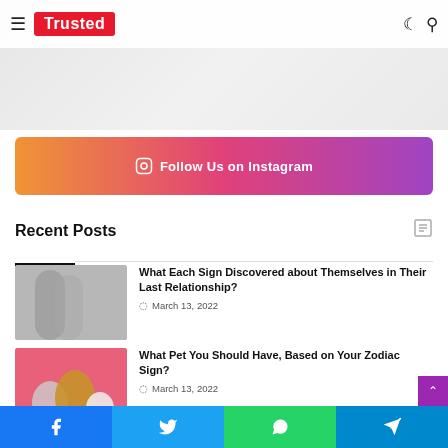Trusted
[Figure (photo): Hero image strip showing people in background, partially visible]
[Figure (infographic): Instagram follow banner with gradient background from orange to purple]
Recent Posts
[Figure (photo): Couple embracing near a window]
What Each Sign Discovered about Themselves in Their Last Relationship?
March 13, 2022
[Figure (photo): Three pets on pink background: gray poodle, corgi, white kitten]
What Pet You Should Have, Based on Your Zodiac Sign?
March 13, 2022
[Figure (photo): Partially visible dark thumbnail for third post]
Disappointment– Here's What Your S…